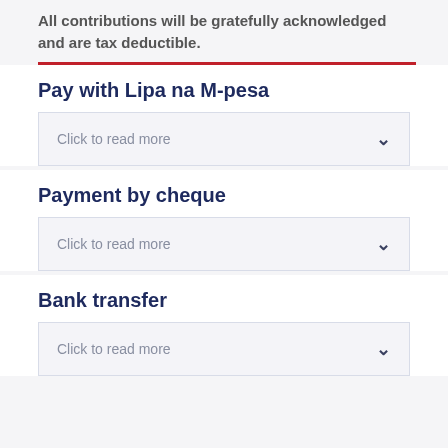All contributions will be gratefully acknowledged and are tax deductible.
Pay with Lipa na M-pesa
Click to read more
Payment by cheque
Click to read more
Bank transfer
Click to read more